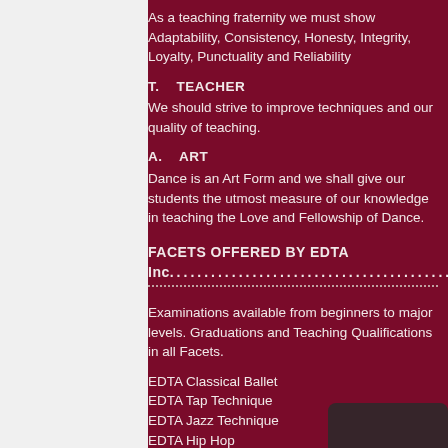As a teaching fraternity we must show Adaptability, Consistency, Honesty, Integrity, Loyalty, Punctuality and Reliability
T.    TEACHER
We should strive to improve techniques and our quality of teaching.
A.    ART
Dance is an Art Form and we shall give our students the utmost measure of our knowledge in teaching the Love and Fellowship of Dance.
FACETS OFFERED BY EDTA Inc.
Examinations available from beginners to major levels. Graduations and Teaching Qualifications in all Facets.
EDTA Classical Ballet
EDTA Tap Technique
EDTA Jazz Technique
EDTA Hip Hop